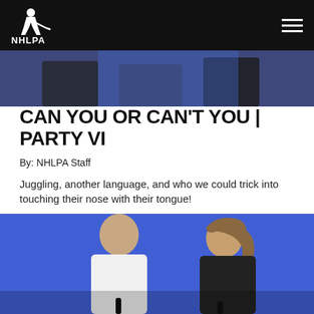NHLPA
[Figure (photo): Top banner photo showing people seated, appearing to be in a panel or interview setting with a blue background]
CAN YOU OR CAN'T YOU | PARTY VI
By: NHLPA Staff
Juggling, another language, and who we could trick into touching their nose with their tongue!
DECEMBER 14, 2018
[Figure (photo): Photo of a bald man in a white shirt and a woman with long hair in a black top, seated in front of a blue background, appearing to be in an interview or panel setting]